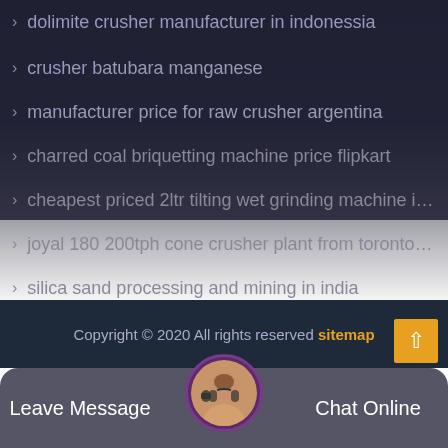> dolimite crusher manufacturer in indonessia
> crusher batubara manganese
> manufacturer price for raw crusher argentina
> charred coal briquetting machine price flipkart
> cheapest priced 2ltr tilting wet grinding machine in n...
> joyal 180 200tph cone crusher plant from toronto qu...
> silica sand processing and mining in india
> new cs series cone crusherhot selling in n'djamena
> magnesium powder ball press machine uk
Copyright © 2020 All rights reserved sitemap
Leave Message
Chat Online